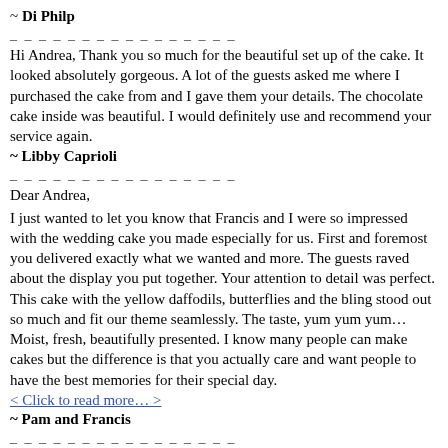~ Di Philp
_ _ _ _ _ _ _ _ _ _ _ _ _ _ _ _
Hi Andrea, Thank you so much for the beautiful set up of the cake. It looked absolutely gorgeous. A lot of the guests asked me where I purchased the cake from and I gave them your details. The chocolate cake inside was beautiful. I would definitely use and recommend your service again.
~ Libby Caprioli
_ _ _ _ _ _ _ _ _ _ _ _ _ _ _ _
Dear Andrea,
I just wanted to let you know that Francis and I were so impressed with the wedding cake you made especially for us. First and foremost you delivered exactly what we wanted and more. The guests raved about the display you put together. Your attention to detail was perfect. This cake with the yellow daffodils, butterflies and the bling stood out so much and fit our theme seamlessly. The taste, yum yum yum… Moist, fresh, beautifully presented. I know many people can make cakes but the difference is that you actually care and want people to have the best memories for their special day.
< Click to read more… >
~ Pam and Francis
_ _ _ _ _ _ _ _ _ _ _ _ _ _ _ _
Andrea, Thank you for the cake, it was fantastic. Everyone was impressed, including the venue staff. Alistair had a great night.